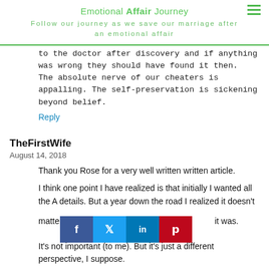Emotional Affair Journey
Follow our journey as we save our marriage after an emotional affair
to the doctor after discovery and if anything was wrong they should have found it then. The absolute nerve of our cheaters is appalling. The self-preservation is sickening beyond belief.
Reply
TheFirstWife
August 14, 2018
Thank you Rose for a very well written article.
I think one point I have realized is that initially I wanted all the A details. But a year down the road I realized it doesn't matter whether it was.
It's not important (to me). But it's just a different perspective, I suppose.
[Figure (infographic): Social sharing bar with Facebook, Twitter, LinkedIn, and Pinterest buttons]